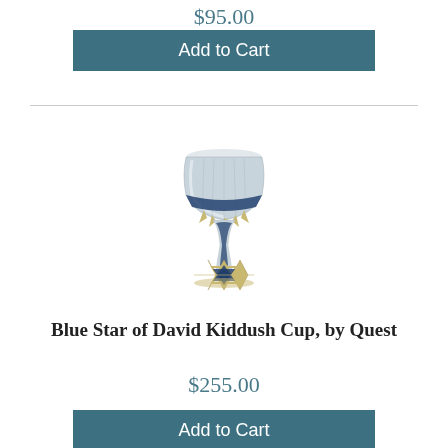$95.00
Add to Cart
[Figure (photo): Silver and blue Kiddush cup with Star of David base, by Quest]
Blue Star of David Kiddush Cup, by Quest
$255.00
Add to Cart